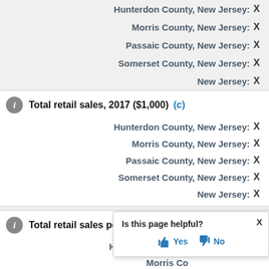Hunterdon County, New Jersey: X
Morris County, New Jersey: X
Passaic County, New Jersey: X
Somerset County, New Jersey: X
New Jersey: X
Total retail sales, 2017 ($1,000) (c)
Hunterdon County, New Jersey: X
Morris County, New Jersey: X
Passaic County, New Jersey: X
Somerset County, New Jersey: X
New Jersey: X
Total retail sales per capita, 2017 (c)
Hunterdon County, New Jersey: (partially visible)
Morris County, New Jersey: (partially visible)
Is this page helpful? Yes No